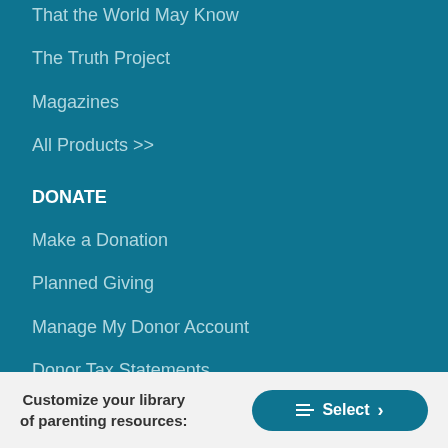That the World May Know
The Truth Project
Magazines
All Products >>
DONATE
Make a Donation
Planned Giving
Manage My Donor Account
Donor Tax Statements
SIGN UP FOR OUR E-NEWSLETTERS
Get our updates straight to your inbox.
Customize your library of parenting resources:
Select